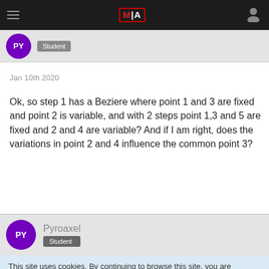MIA
Student
Jan 10th 2020
Ok, so step 1 has a Beziere where point 1 and 3 are fixed and point 2 is variable, and with 2 steps point 1,3 and 5 are fixed and 2 and 4 are variable? And if I am right, does the variations in point 2 and 4 influence the common point 3?
Pyroaxel
Student
This site uses cookies. By continuing to browse this site, you are agreeing to our use of cookies.